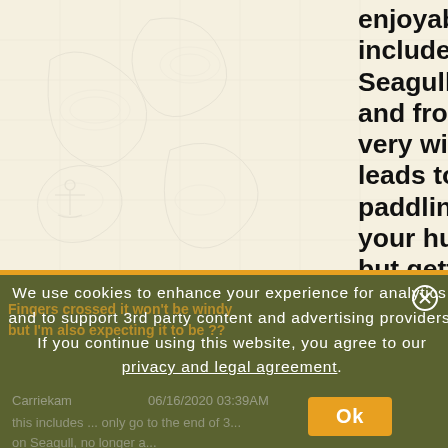enjoyable plan, which might include a tow. We are heading into Seagull for the first time in July, and from what I've read it can get very windy on Seagull, which leads to big waves, and tough paddling. I don't know what you or your husbands paddling skills are, but getting a tow partway across Seagull just might work out best for you. Enjoy the trip!
"
We use cookies to enhance your experience for analytics, and to support 3rd party content and advertising providers. If you continue using this website, you agree to our privacy and legal agreement.
Fingers crossed it won't be windy but I'm also expecting it to be ??  Carriekam  06/16/2020 03:39AM  this includes ... only go to the end of 3... on Seagull, no longer a...